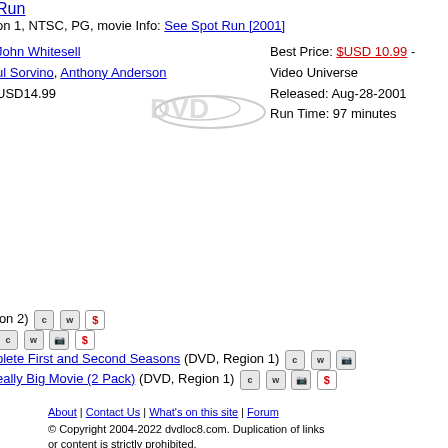Run
on 1, NTSC, PG, movie Info: See Spot Run [2001]
John Whitesell
ul Sorvino, Anthony Anderson
USD14.99
Best Price: $USD 10.99 - Video Universe
Released: Aug-28-2001
Run Time: 97 minutes
[Figure (illustration): DVD logo with disc graphic]
ion 2) [c][w][$]
[c][w][cam][$]
plete First and Second Seasons (DVD, Region 1) [c][w][cam]
eally Big Movie (2 Pack) (DVD, Region 1) [c][w][cam][$]
he ( 2 Pack) (DVD, Region 1) [c][w][cam][$]
Blu-ray/DVD Combo + Digital Copy) (Blu-ray Disc, Region A (Blu-ray)) [c]
c Combo: Blu-ray 3D/Blu-ray/DVD/Digital Copy) (Blu-ray Disc, Region A
ion 1) [c][w][cam][$]
About | Contact Us | What's on this site | Forum
© Copyright 2004-2022 dvdloc8.com. Duplication of links or content is strictly prohibited.